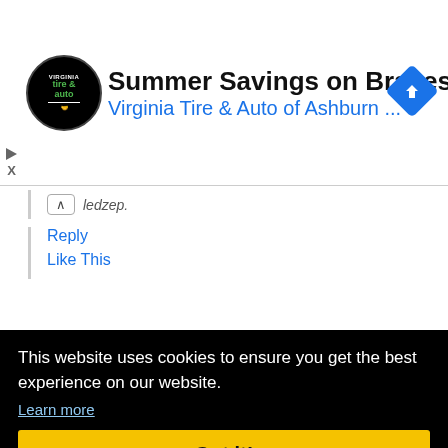[Figure (screenshot): Advertisement banner for Virginia Tire & Auto of Ashburn featuring logo, headline 'Summer Savings on Brakes', and a blue navigation arrow icon]
ledzep.
Reply
Like This
cybersst  100  7y ★  May 06, 2022 06:04AM
This website uses cookies to ensure you get the best experience on our website. Learn more
Got it!
o my checks out of for those ten years straight now too